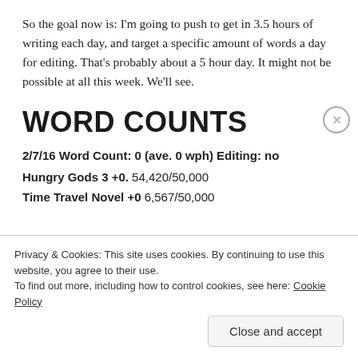So the goal now is: I'm going to push to get in 3.5 hours of writing each day, and target a specific amount of words a day for editing. That's probably about a 5 hour day. It might not be possible at all this week. We'll see.
WORD COUNTS
2/7/16 Word Count: 0 (ave. 0 wph) Editing: no
Hungry Gods 3 +0. 54,420/50,000
Time Travel Novel +0 6,567/50,000
Privacy & Cookies: This site uses cookies. By continuing to use this website, you agree to their use.
To find out more, including how to control cookies, see here: Cookie Policy
Close and accept